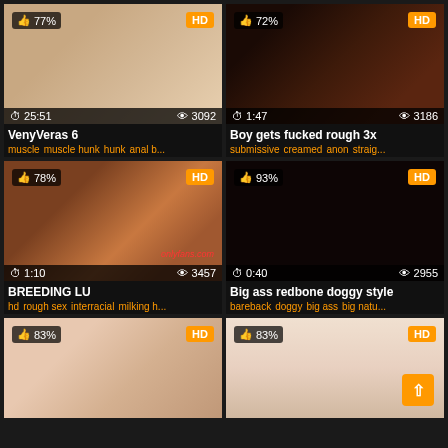[Figure (screenshot): Video thumbnail grid showing adult content video listings with thumbnails, duration, view counts, titles, and tags]
VenyVeras 6
muscle muscle hunk hunk anal b...
Boy gets fucked rough 3x
submissive creamed anon straig...
BREEDING LU
hd rough sex interracial milking h...
Big ass redbone doggy style
bareback doggy big ass big natu...